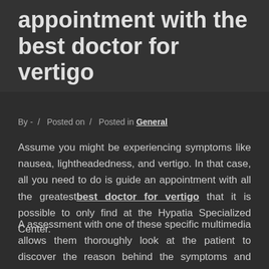appointment with the best doctor for vertigo
By - / Posted on / Posted in General
Assume you might be experiencing symptoms like nausea, lightheadedness, and vertigo. In that case, all you need to do is guide an appointment with all the greatest best doctor for vertigo that it is possible to only find at the Hypatia Specialized Center.
A assessment with one of these specific multimedia allows them thoroughly look at the patient to discover the reason behind the symptoms and prescribe the proper treatment. They may have the experience and will purchase all the assessments and